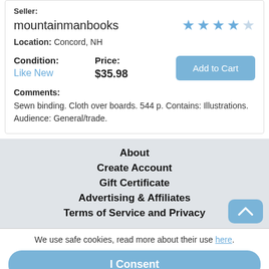Seller:
mountainmanbooks
Location: Concord, NH
Condition: Like New
Price: $35.98
Add to Cart
Comments: Sewn binding. Cloth over boards. 544 p. Contains: Illustrations. Audience: General/trade.
About
Create Account
Gift Certificate
Advertising & Affiliates
Terms of Service and Privacy
We use safe cookies, read more about their use here.
I Consent